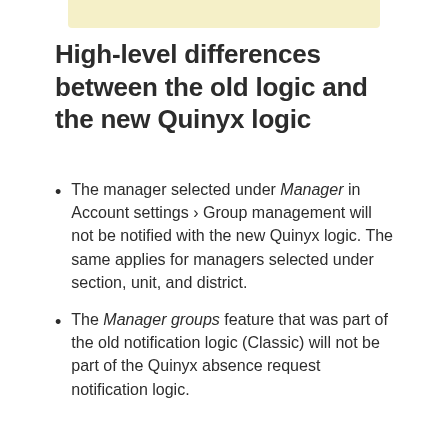High-level differences between the old logic and the new Quinyx logic
The manager selected under Manager in Account settings > Group management will not be notified with the new Quinyx logic. The same applies for managers selected under section, unit, and district.
The Manager groups feature that was part of the old notification logic (Classic) will not be part of the Quinyx absence request notification logic.